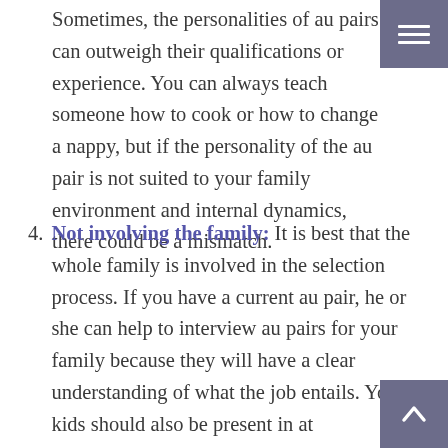Sometimes, the personalities of au pairs can outweigh their qualifications or experience. You can always teach someone how to cook or how to change a nappy, but if the personality of the au pair is not suited to your family environment and internal dynamics, there could be a mismatch.
4. Not involving the family: It is best that the whole family is involved in the selection process. If you have a current au pair, he or she can help to interview au pairs for your family because they will have a clear understanding of what the job entails. Your kids should also be present in at